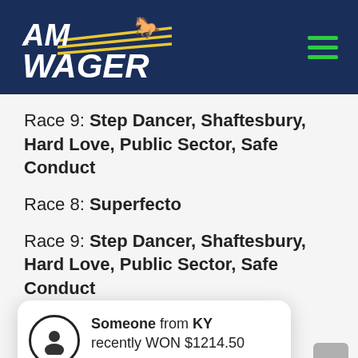[Figure (logo): AmWager horse racing betting logo on dark navy blue header background with hamburger menu icon on right]
Race 9: Step Dancer, Shaftesbury, Hard Love, Public Sector, Safe Conduct
Race 8: Superfecto
Race 9: Step Dancer, Shaftesbury, Hard Love, Public Sector, Safe Conduct
Someone from KY recently WON $1214.50
1 day ago  Verified by Amwager
...mily Biz
Race 9: Shaftesbury, Public